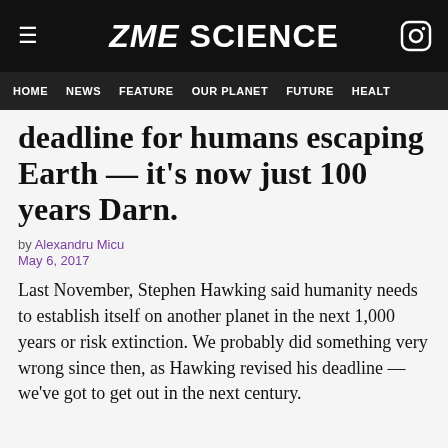ZME SCIENCE
HOME  NEWS  FEATURE  OUR PLANET  FUTURE  HEALT
deadline for humans escaping Earth — it's now just 100 years Darn.
by Alexandru Micu
May 6, 2017
Last November, Stephen Hawking said humanity needs to establish itself on another planet in the next 1,000 years or risk extinction. We probably did something very wrong since then, as Hawking revised his deadline — we've got to get out in the next century.